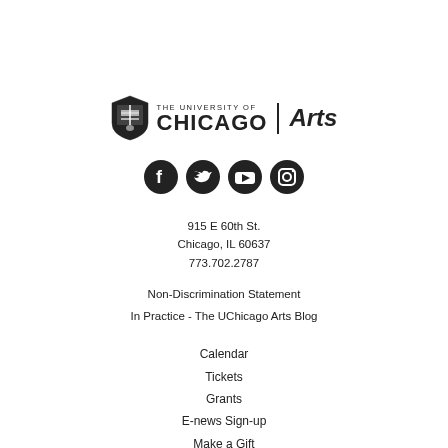[Figure (logo): University of Chicago Arts logo with shield emblem, text 'THE UNIVERSITY OF CHICAGO' and 'Arts']
[Figure (infographic): Four social media icons: Facebook, Twitter, YouTube, Instagram]
915 E 60th St.
Chicago, IL 60637
773.702.2787
Non-Discrimination Statement
In Practice - The UChicago Arts Blog
Calendar
Tickets
Grants
E-news Sign-up
Make a Gift
Contact